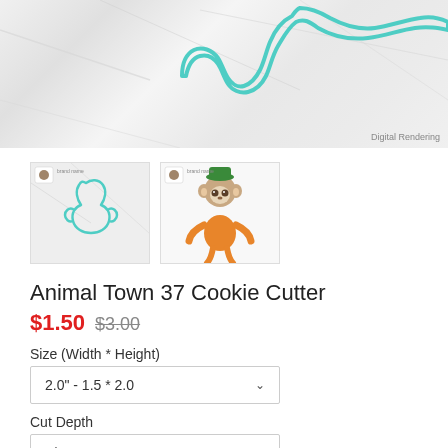[Figure (illustration): Top portion of a product page showing a marble-textured background with a teal/turquoise outlined cookie cutter shape. Label 'Digital Rendering' in bottom right corner.]
[Figure (illustration): Two thumbnail images: left shows a teal outline of a character cookie cutter shape on marble background; right shows a colored cartoon sloth character wearing a green hat and orange outfit.]
Animal Town 37 Cookie Cutter
$1.50  $3.00
Size (Width * Height)
2.0" - 1.5 * 2.0
Cut Depth
1/2"